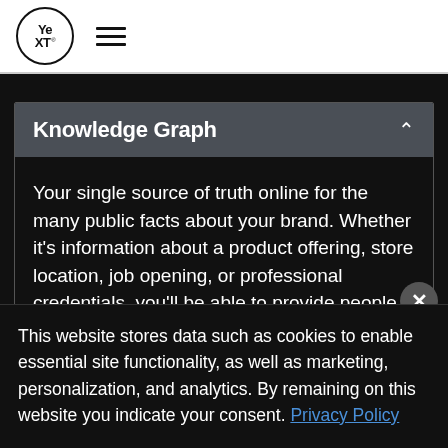Yext [logo] [hamburger menu]
Knowledge Graph
Your single source of truth online for the many public facts about your brand. Whether it's information about a product offering, store location, job opening, or professional credentials, you'll be able to provide people with actionable answers to the questions they're already asking...
This website stores data such as cookies to enable essential site functionality, as well as marketing, personalization, and analytics. By remaining on this website you indicate your consent. Privacy Policy